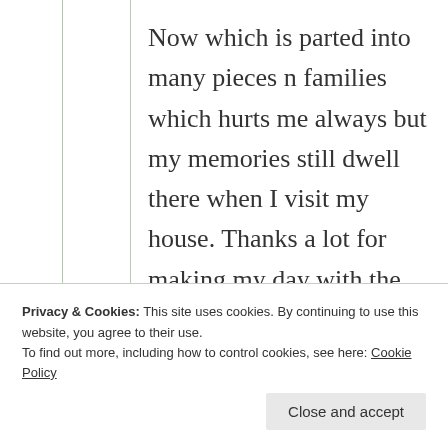Now which is parted into many pieces n families which hurts me always but my memories still dwell there when I visit my house. Thanks a lot for making my day with the sweetest reminder!

So, do you think I speak Urdu coz I spent my years of time with a Urdu family? Guess. 🙃😇
Privacy & Cookies: This site uses cookies. By continuing to use this website, you agree to their use.
To find out more, including how to control cookies, see here: Cookie Policy
Close and accept